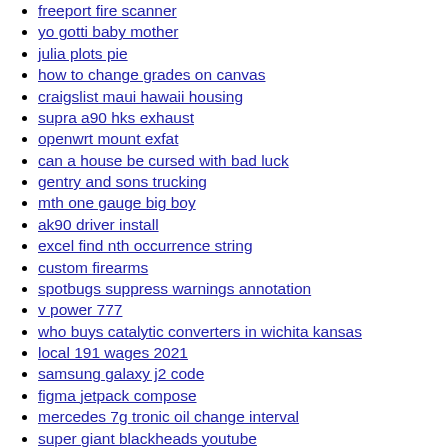freeport fire scanner
yo gotti baby mother
julia plots pie
how to change grades on canvas
craigslist maui hawaii housing
supra a90 hks exhaust
openwrt mount exfat
can a house be cursed with bad luck
gentry and sons trucking
mth one gauge big boy
ak90 driver install
excel find nth occurrence string
custom firearms
spotbugs suppress warnings annotation
v power 777
who buys catalytic converters in wichita kansas
local 191 wages 2021
samsung galaxy j2 code
figma jetpack compose
mercedes 7g tronic oil change interval
super giant blackheads youtube
react js loading spinner
20m attic antenna
gs pay scale 2021 dc
unityfs extract
outline of height 1